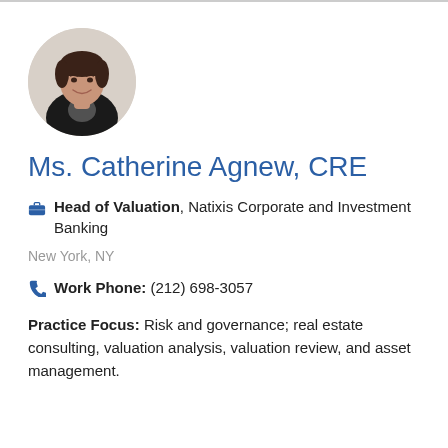[Figure (photo): Circular headshot portrait of Ms. Catherine Agnew, a woman with short dark hair wearing a black jacket]
Ms. Catherine Agnew, CRE
Head of Valuation, Natixis Corporate and Investment Banking
New York, NY
Work Phone: (212) 698-3057
Practice Focus: Risk and governance; real estate consulting, valuation analysis, valuation review, and asset management.